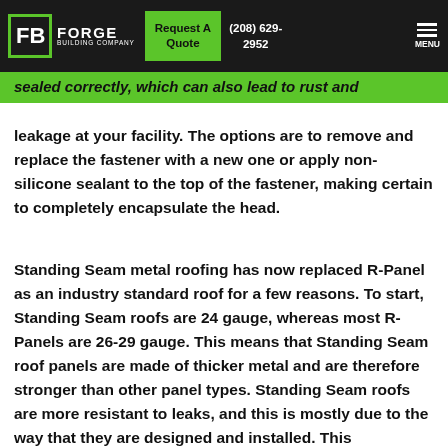Forge Building Company | Request A Quote | (208) 629-2952 | MENU
sealed correctly, which can also lead to rust and leakage at your facility. The options are to remove and replace the fastener with a new one or apply non-silicone sealant to the top of the fastener, making certain to completely encapsulate the head.
Standing Seam metal roofing has now replaced R-Panel as an industry standard roof for a few reasons. To start, Standing Seam roofs are 24 gauge, whereas most R-Panels are 26-29 gauge. This means that Standing Seam roof panels are made of thicker metal and are therefore stronger than other panel types. Standing Seam roofs are more resistant to leaks, and this is mostly due to the way that they are designed and installed. This